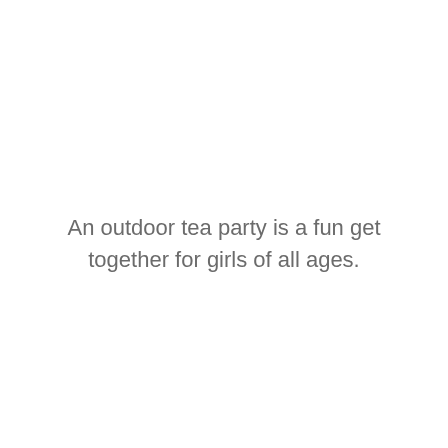An outdoor tea party is a fun get together for girls of all ages.